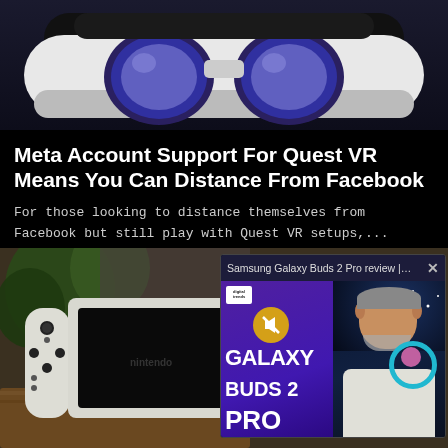[Figure (photo): VR headset (Meta Quest) shown from front, white and black device with purple lenses, on dark background]
Meta Account Support For Quest VR Means You Can Distance From Facebook
For those looking to distance themselves from Facebook but still play with Quest VR setups,...
By Daniel Golightly · August 25, 2022
[Figure (screenshot): Nintendo Switch OLED gaming console on a wooden surface with foliage in background, overlaid with a video player popup showing 'Samsung Galaxy Buds 2 Pro review | Gr...' with X close button, Digital Trends branded video content showing GALAXY BUDS 2 PRO text and a reviewer person]